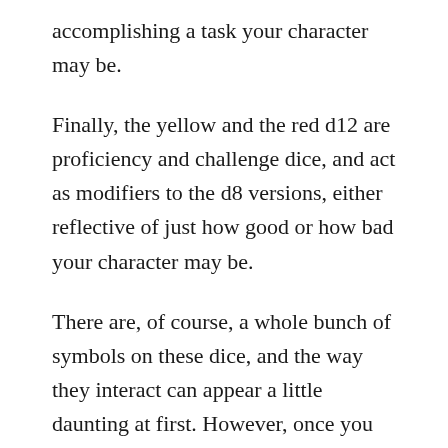accomplishing a task your character may be.
Finally, the yellow and the red d12 are proficiency and challenge dice, and act as modifiers to the d8 versions, either reflective of just how good or how bad your character may be.
There are, of course, a whole bunch of symbols on these dice, and the way they interact can appear a little daunting at first. However, once you get into it, the dice are actually fairly straightforward to deal with. Adding and subtracting dice, cancelling one result with another, it all becomes fairly straightforward. The beauty of the system, however, lies in the real narrative possibilities of these dice – they don't just tell you if you succeeded or failed at a